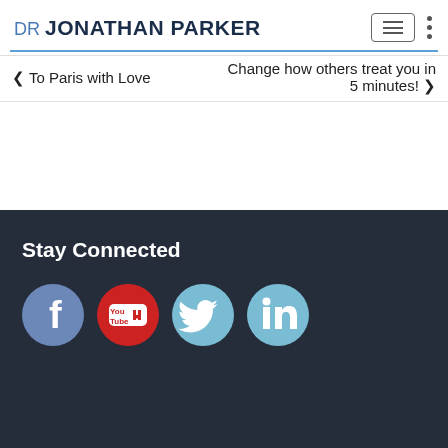DR JONATHAN PARKER
❮ To Paris with Love
Change how others treat you in 5 minutes! ❯
Stay Connected
[Figure (other): Social media icons: Facebook, YouTube, Twitter, LinkedIn]